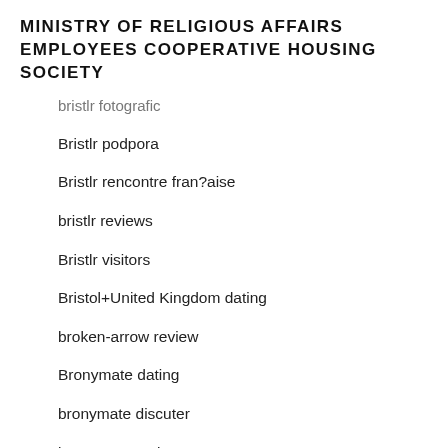MINISTRY OF RELIGIOUS AFFAIRS EMPLOYEES COOPERATIVE HOUSING SOCIETY
bristlr fotografic
Bristlr podpora
Bristlr rencontre fran?aise
bristlr reviews
Bristlr visitors
Bristol+United Kingdom dating
broken-arrow review
Bronymate dating
bronymate discuter
bronymate reviews